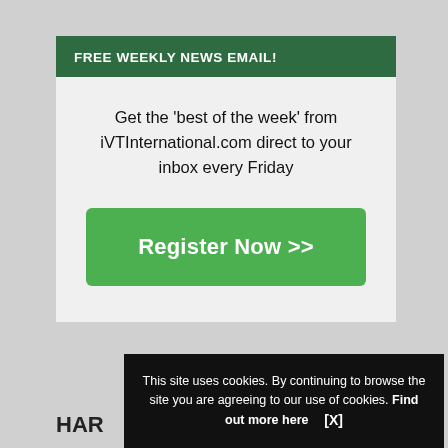FREE WEEKLY NEWS EMAIL!
Get the 'best of the week' from iVTInternational.com direct to your inbox every Friday
[Figure (other): Green 'Register Now >>' button]
This site uses cookies. By continuing to browse the site you are agreeing to our use of cookies. Find out more here   [X]
HAR